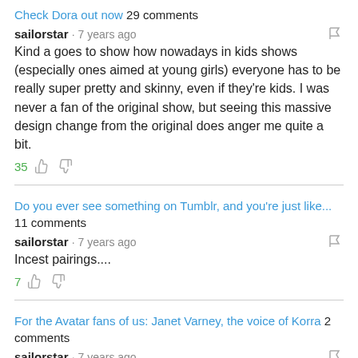Check Dora out now 29 comments
sailorstar · 7 years ago
Kind a goes to show how nowadays in kids shows (especially ones aimed at young girls) everyone has to be really super pretty and skinny, even if they're kids. I was never a fan of the original show, but seeing this massive design change from the original does anger me quite a bit.
35 👍 👎
Do you ever see something on Tumblr, and you're just like... 11 comments
sailorstar · 7 years ago
Incest pairings....
7 👍 👎
For the Avatar fans of us: Janet Varney, the voice of Korra 2 comments
sailorstar · 7 years ago
She is so awesome
1 👍 👎